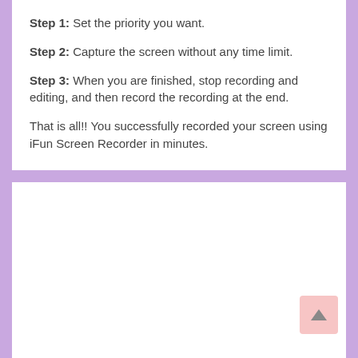Step 1: Set the priority you want.
Step 2: Capture the screen without any time limit.
Step 3: When you are finished, stop recording and editing, and then record the recording at the end.
That is all!! You successfully recorded your screen using iFun Screen Recorder in minutes.
[Figure (screenshot): Empty white content area below the steps, with a pink back-to-top button in the bottom right corner showing an upward arrow.]